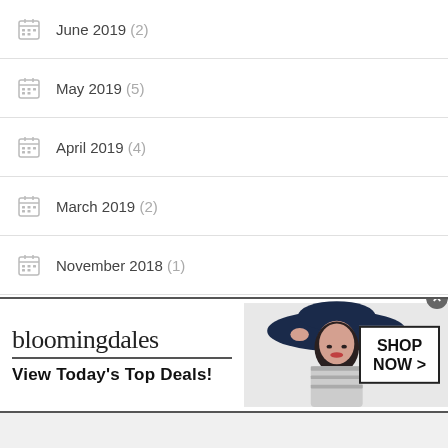June 2019 (2)
May 2019 (5)
April 2019 (4)
March 2019 (2)
November 2018 (1)
September 2018 (1)
August 2018 (1)
[Figure (other): Bloomingdales advertisement banner with logo, tagline 'View Today's Top Deals!', a woman in a wide-brim hat, and a 'SHOP NOW >' button]